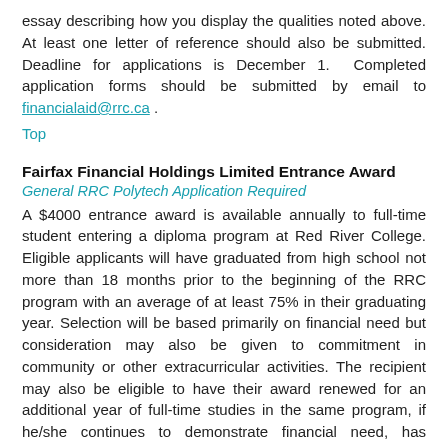essay describing how you display the qualities noted above. At least one letter of reference should also be submitted. Deadline for applications is December 1. Completed application forms should be submitted by email to financialaid@rrc.ca .
Top
Fairfax Financial Holdings Limited Entrance Award
General RRC Polytech Application Required
A $4000 entrance award is available annually to full-time student entering a diploma program at Red River College. Eligible applicants will have graduated from high school not more than 18 months prior to the beginning of the RRC program with an average of at least 75% in their graduating year. Selection will be based primarily on financial need but consideration may also be given to commitment in community or other extracurricular activities. The recipient may also be eligible to have their award renewed for an additional year of full-time studies in the same program, if he/she continues to demonstrate financial need, has maintained full-time enrolment, and achieved a minimum cumulative GPA of 3.00 in the previous year. Deadline for applications is July 31.
Top